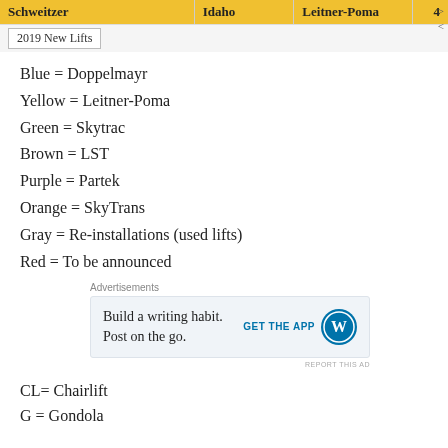| Schweitzer | Idaho | Leitner-Poma | 4 |
| --- | --- | --- | --- |
| 2019 New Lifts |  |  |  |
Blue = Doppelmayr
Yellow = Leitner-Poma
Green = Skytrac
Brown = LST
Purple = Partek
Orange = SkyTrans
Gray = Re-installations (used lifts)
Red = To be announced
[Figure (other): Advertisement: Build a writing habit. Post on the go. GET THE APP (WordPress logo). REPORT THIS AD]
CL= Chairlift
G = Gondola